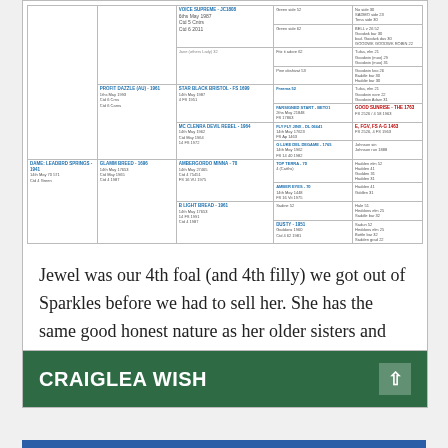[Figure (table-as-image): Pedigree / bloodline table with multiple columns showing horse names, dates, and lineage information in small text with blue hyperlinks]
Jewel was our 4th foal (and 4th filly) we got out of Sparkles before we had to sell her. She has the same good honest nature as her older sisters and mum. This mare is naturally athletic and willing.
CRAIGLEA WISH